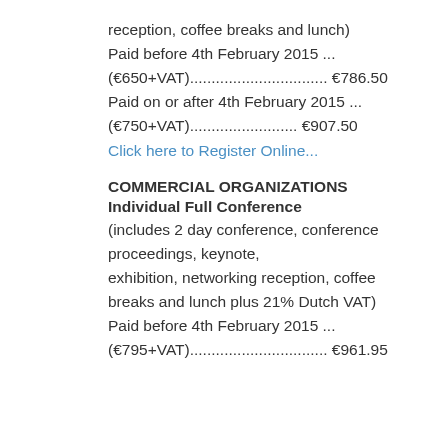reception, coffee breaks and lunch)
Paid before 4th February 2015 ...
(€650+VAT)................................ €786.50
Paid on or after 4th February 2015 ...
(€750+VAT)......................... €907.50
Click here to Register Online...
COMMERCIAL ORGANIZATIONS
Individual Full Conference
(includes 2 day conference, conference proceedings, keynote, exhibition, networking reception, coffee breaks and lunch plus 21% Dutch VAT)
Paid before 4th February 2015 ...
(€795+VAT)................................ €961.95